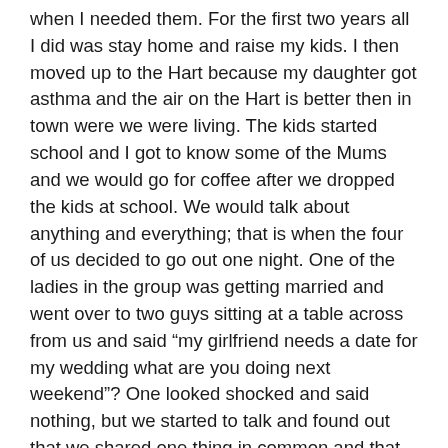when I needed them. For the first two years all I did was stay home and raise my kids. I then moved up to the Hart because my daughter got asthma and the air on the Hart is better then in town were we were living. The kids started school and I got to know some of the Mums and we would go for coffee after we dropped the kids at school. We would talk about anything and everything; that is when the four of us decided to go out one night. One of the ladies in the group was getting married and went over to two guys sitting at a table across from us and said “my girlfriend needs a date for my wedding what are you doing next weekend”? One looked shocked and said nothing, but we started to talk and found out that we shared one thing in common and that was his daughter who was burned in a house fire. I told him that anytime she needed someone to talk to she could call me even though she was in Thunder Bay at the time. We have been together ever since. That was 16 years ago. His name is Trevor Armour. He treats me like gold and loves me for who I am.
I have gone though about 30 to 40 operations since knowing Trevor who is always there! In my lifetime I have